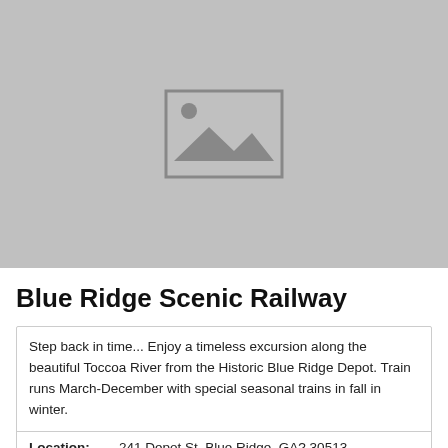[Figure (photo): Placeholder image with grey background and image icon in center]
Blue Ridge Scenic Railway
Step back in time... Enjoy a timeless excursion along the beautiful Toccoa River from the Historic Blue Ridge Depot. Train runs March-December with special seasonal trains in fall in winter.
Location:   241 Depot St, Blue Ridge, GA? 30513
Phone:   (706) 632-9833